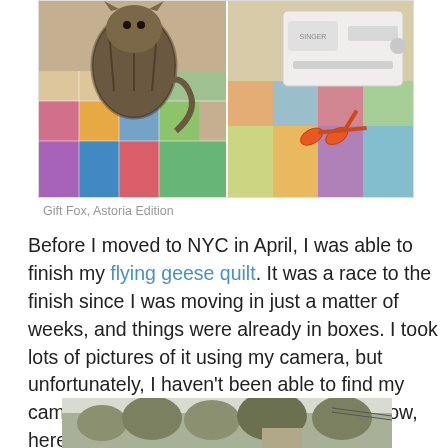[Figure (photo): Two photos side by side: left shows a tabby cat sitting on a colorful patchwork quilt; right shows a sewing machine and scissors on a quilt with fabric pieces]
Gift Fox, Astoria Edition
Before I moved to NYC in April, I was able to finish my flying geese quilt. It was a race to the finish since I was moving in just a matter of weeks, and things were already in boxes. I took lots of pictures of it using my camera, but unfortunately, I haven't been able to find my camera's USB cord since the move. For now, here's a quick pic of the finished product:
[Figure (photo): Partially visible photo showing outdoor scene with trees and a house, top portion of a finished quilt photo]